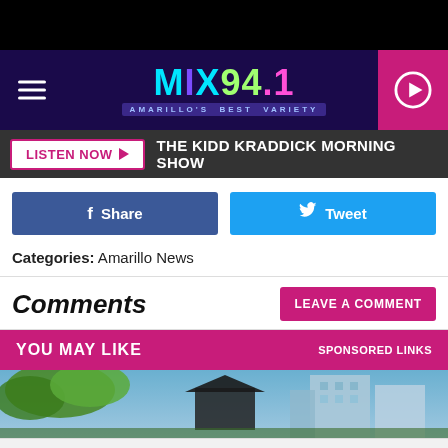[Figure (screenshot): MIX 94.1 radio station website header banner with logo, hamburger menu, and play button]
LISTEN NOW ▶  THE KIDD KRADDICK MORNING SHOW
f Share   Tweet
Categories: Amarillo News
Comments
LEAVE A COMMENT
YOU MAY LIKE   SPONSORED LINKS
[Figure (photo): Outdoor photo of house with trees and buildings]
Nota
Redesigned Legal Banking, IOLTA Tracking, and Business Checking for Law Firms in One Place